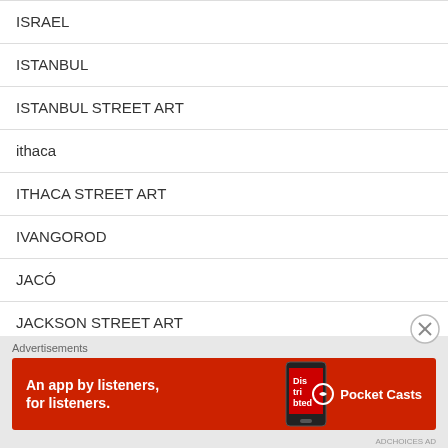ISRAEL
ISTANBUL
ISTANBUL STREET ART
ithaca
ITHACA STREET ART
IVANGOROD
JACÓ
JACKSON STREET ART
JACKSONVILLE
JACKSONVILLE STREET ART
[Figure (other): Advertisement banner for Pocket Casts: 'An app by listeners, for listeners.' with red background and Pocket Casts logo]
Advertisements